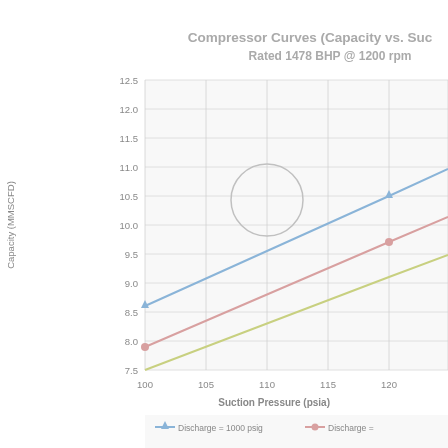[Figure (line-chart): Compressor Curves (Capacity vs. Suction Pressure)
Rated 1478 BHP @ 1200 rpm]
—▲— Discharge = 1000 psig   —●— Discharge = ...